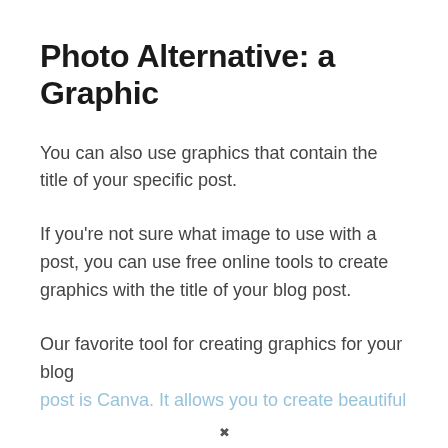Photo Alternative: a Graphic
You can also use graphics that contain the title of your specific post.
If you're not sure what image to use with a post, you can use free online tools to create graphics with the title of your blog post.
Our favorite tool for creating graphics for your blog